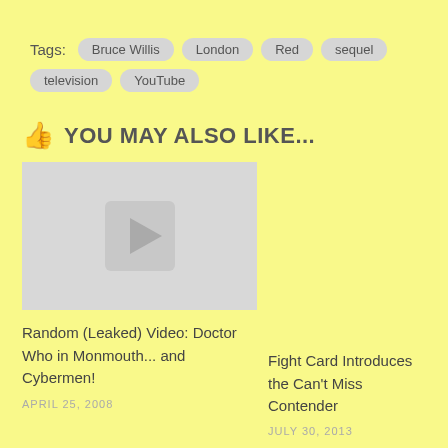Tags: Bruce Willis  London  Red  sequel  television  YouTube
YOU MAY ALSO LIKE...
[Figure (other): Placeholder image with a play button icon for a video article]
Random (Leaked) Video: Doctor Who in Monmouth... and Cybermen!
APRIL 25, 2008
Fight Card Introduces the Can't Miss Contender
JULY 30, 2013